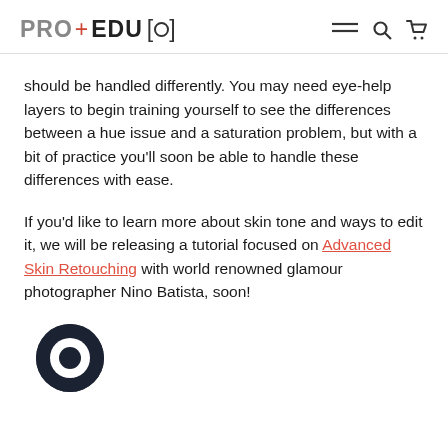PRO+EDU[o]
should be handled differently. You may need eye-help layers to begin training yourself to see the differences between a hue issue and a saturation problem, but with a bit of practice you'll soon be able to handle these differences with ease.
If you'd like to learn more about skin tone and ways to edit it, we will be releasing a tutorial focused on Advanced Skin Retouching with world renowned glamour photographer Nino Batista, soon!
[Figure (logo): PRO EDU circular logo icon in dark navy/black]